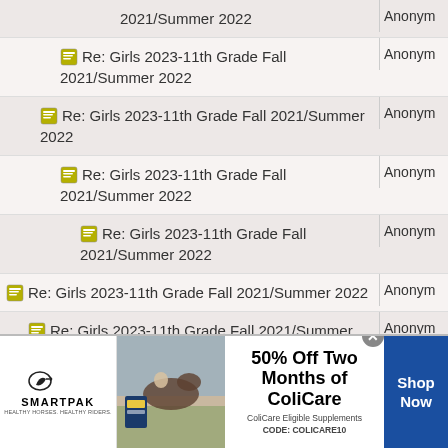2021/Summer 2022
Re: Girls 2023-11th Grade Fall 2021/Summer 2022 | Anonym
Re: Girls 2023-11th Grade Fall 2021/Summer 2022 | Anonym
Re: Girls 2023-11th Grade Fall 2021/Summer 2022 | Anonym
Re: Girls 2023-11th Grade Fall 2021/Summer 2022 | Anonym
Re: Girls 2023-11th Grade Fall 2021/Summer 2022 | Anonym
Re: Girls 2023-11th Grade Fall 2021/Summer 2022 | Anonym
Re: Girls 2023-11th Grade Fall 2021/Summer 2022 | Anonym
Re: Girls 2023-11th Grade Fall 2021/Summer 2022 | Anonym
[Figure (infographic): SmartPak advertisement: 50% Off Two Months of ColiCare, ColiCare Eligible Supplements, CODE: COLICARE10, Shop Now button]